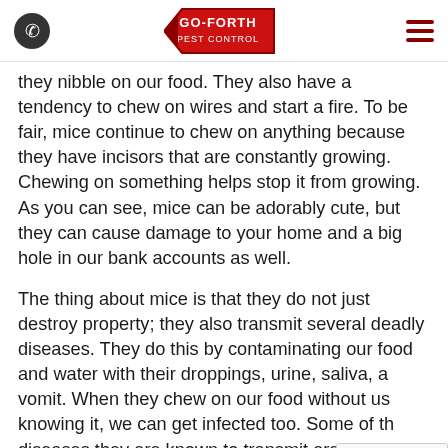Go-Forth Pest Control
they nibble on our food. They also have a tendency to chew on wires and start a fire. To be fair, mice continue to chew on anything because they have incisors that are constantly growing. Chewing on something helps stop it from growing. As you can see, mice can be adorably cute, but they can cause damage to your home and a big hole in our bank accounts as well.
The thing about mice is that they do not just destroy property; they also transmit several deadly diseases. They do this by contaminating our food and water with their droppings, urine, saliva, and vomit. When they chew on our food without us knowing it, we can get infected too. Some of the diseases they are known to transmit are leptospirosis, Lassa fever, hemorrhagic fever with renal syndrome, salmonellosis, and rat-bite fever.